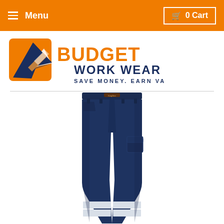≡ Menu  🛒 0 Cart
[Figure (logo): Budget Work Wear logo with orange paper plane icon and text 'BUDGET WORK WEAR - SAVE MONEY. EARN VALUE']
[Figure (photo): Navy blue cargo work pants with reflective white tape bands near the ankles, shown on a white background. The pants feature belt loops, a button fly, side pockets, and a cargo pocket on the right leg.]